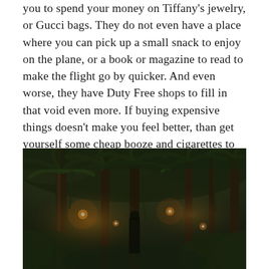you to spend your money on Tiffany's jewelry, or Gucci bags. They do not even have a place where you can pick up a small snack to enjoy on the plane, or a book or magazine to read to make the flight go by quicker. And even worse, they have Duty Free shops to fill in that void even more. If buying expensive things doesn't make you feel better, than get yourself some cheap booze and cigarettes to pass away the time. The sad thing is you will only wake up from that with a bigger void you wish to fill.
[Figure (photo): A lush tropical jungle scene with tall palm trees and dense green vegetation, illuminated by warm candlelight or lanterns, creating a moody atmospheric ambiance at dusk or night.]